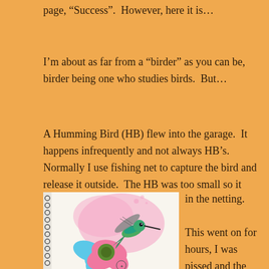page, “Success”.  However, here it is…
I’m about as far from a “birder” as you can be, birder being one who studies birds.  But…
A Humming Bird (HB) flew into the garage.  It happens infrequently and not always HB’s.  Normally I use fishing net to capture the bird and release it outside.  The HB was too small so it always flew out of the holes in the netting.

This went on for hours, I was pissed and the HB exhausted.  It eventually landed on top of a container located near the garage
[Figure (illustration): Colorful illustration of a hummingbird hovering over a large pink and blue flower, with pink cloudy background, drawn in a tattoo/art style on a white page from a spiral notebook.]